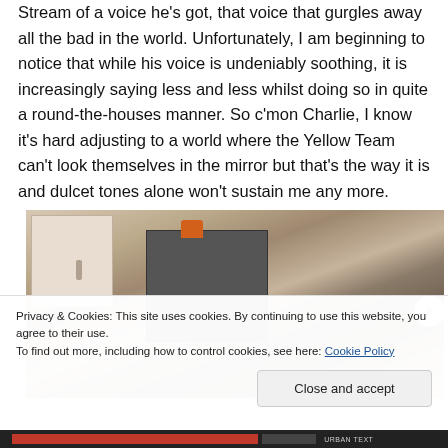Stream of a voice he's got, that voice that gurgles away all the bad in the world. Unfortunately, I am beginning to notice that while his voice is undeniably soothing, it is increasingly saying less and less whilst doing so in quite a round-the-houses manner. So c'mon Charlie, I know it's hard adjusting to a world where the Yellow Team can't look themselves in the mirror but that's the way it is and dulcet tones alone won't sustain me any more.
[Figure (photo): A kitchen interior photo showing cabinets, a stove with an orange pot, partially obscured by a cookie consent banner overlay.]
Privacy & Cookies: This site uses cookies. By continuing to use this website, you agree to their use.
To find out more, including how to control cookies, see here: Cookie Policy
Close and accept